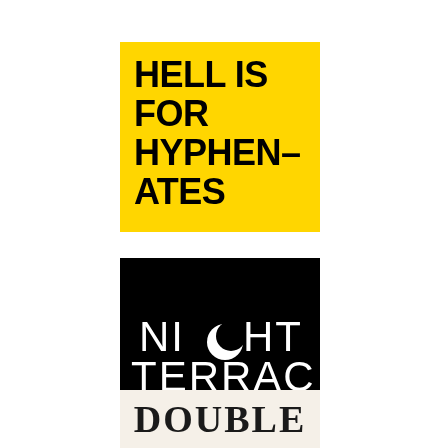[Figure (logo): Yellow square logo with bold black text reading 'HELL IS FOR HYPHEN–ATES' in all caps]
[Figure (logo): Black square logo with white serif/display text reading 'NIGHT TERRACE' with a crescent moon replacing the 'O' in NIGHT]
[Figure (logo): Light background logo with decorative serif text reading 'DOUBLE' in all caps, partially visible]